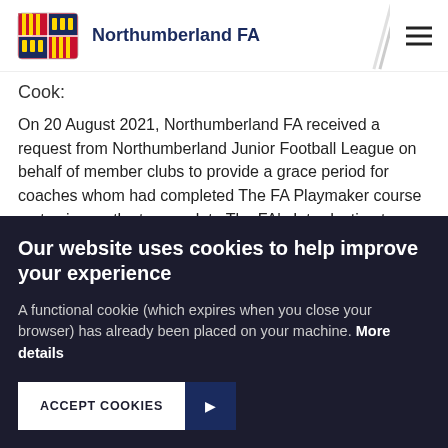Northumberland FA
Cook:
On 20 August 2021, Northumberland FA received a request from Northumberland Junior Football League on behalf of member clubs to provide a grace period for coaches whom had completed The FA Playmaker course up to six months to complete The FA's Introduction to Coaching course, whilst in that time still being able to
Our website uses cookies to help improve your experience
A functional cookie (which expires when you close your browser) has already been placed on your machine. More details
ACCEPT COOKIES